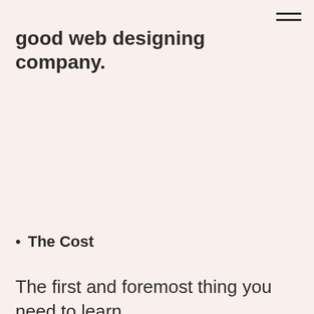good web designing company.
The Cost
The first and foremost thing you need to learn